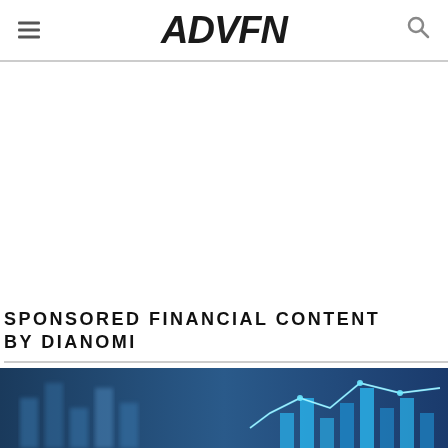ADVFN
SPONSORED FINANCIAL CONTENT BY DIANOMI
[Figure (photo): Financial market data visualization with blue glowing charts and bar graphs on a blurred background]